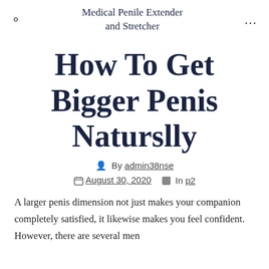Medical Penile Extender and Stretcher
How To Get Bigger Penis Naturslly
By admin38nse
August 30, 2020  In p2
A larger penis dimension not just makes your companion completely satisfied, it likewise makes you feel confident. However, there are several men